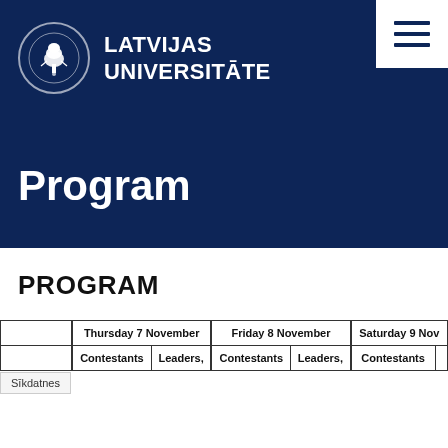LATVIJAS UNIVERSITĀTE
Program
PROGRAM
|  | Thursday 7 November |  | Friday 8 November |  | Saturday 9 Nov |  |
| --- | --- | --- | --- | --- | --- | --- |
|  | Contestants | Leaders, | Contestants | Leaders, | Contestants |  |